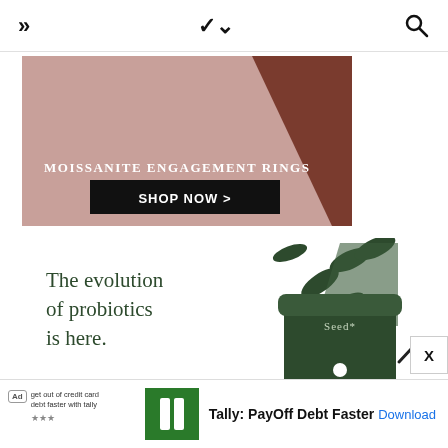[Figure (screenshot): Navigation bar with double right chevron (»), a down chevron (˅), and a search icon (magnifying glass)]
[Figure (photo): Advertisement banner for Moissanite Engagement Rings with text 'MOISSANITE ENGAGEMENT RINGS' and 'SHOP NOW >' button on dark red/rose gold background]
[Figure (photo): Advertisement for Seed probiotics showing dark green supplement capsules and a dark green cylindrical container labeled 'Seed*' with text 'The evolution of probiotics is here.']
[Figure (screenshot): Bottom ad bar: 'Ad' label with text 'get out of credit card debt faster with tally', Tally app logo (green with two vertical bars), 'Tally: PayOff Debt Faster' title, and 'Download' link]